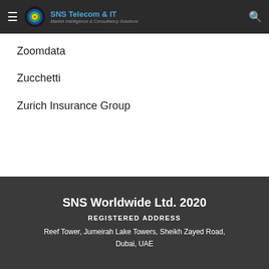SNS Telecom & IT — Market Intelligence & Consultancy Solutions
Zoomdata
Zucchetti
Zurich Insurance Group
SNS Worldwide Ltd. 2020
REGISTERED ADDRESS
Reef Tower, Jumeirah Lake Towers, Sheikh Zayed Road, Dubai, UAE